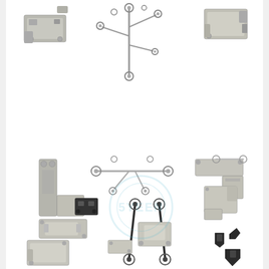[Figure (photo): Collection of small metal internal hardware parts and brackets for a smartphone (iPhone), including metal shields, spring clips, retaining brackets, flex cable holders, small black plastic connectors, and coiled springs. Parts are arranged on a white background. A watermark logo reading '5YEEN' (or similar) appears in the center of the lower portion of the image.]